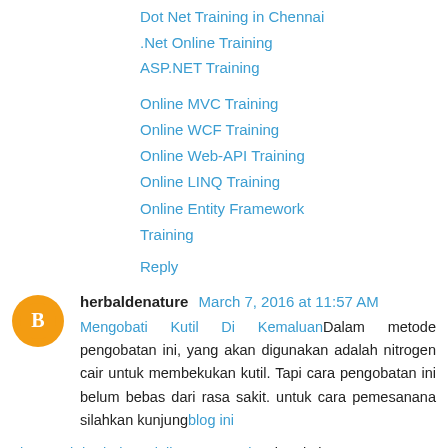Dot Net Training in Chennai
.Net Online Training
ASP.NET Training
Online MVC Training
Online WCF Training
Online Web-API Training
Online LINQ Training
Online Entity Framework Training
Reply
herbaldenature March 7, 2016 at 11:57 AM
Mengobati Kutil Di KemaluanDalam metode pengobatan ini, yang akan digunakan adalah nitrogen cair untuk membekukan kutil. Tapi cara pengobatan ini belum bebas dari rasa sakit. untuk cara pemesanana silahkan kunjungblog ini
obat wasir herbal untuk ibu menyusuiTapi perlu juga